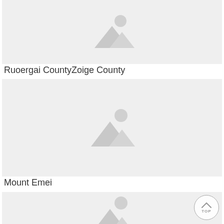[Figure (photo): Placeholder image with mountain/landscape icon, light gray background, top of page]
Ruoergai CountyZoige County
[Figure (photo): Placeholder image with mountain/landscape icon, light gray background, middle of page]
Mount Emei
[Figure (photo): Placeholder image with mountain/landscape icon, light gray background, bottom of page]